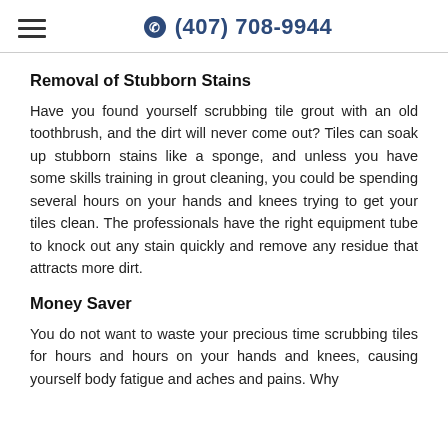(407) 708-9944
Removal of Stubborn Stains
Have you found yourself scrubbing tile grout with an old toothbrush, and the dirt will never come out? Tiles can soak up stubborn stains like a sponge, and unless you have some skills training in grout cleaning, you could be spending several hours on your hands and knees trying to get your tiles clean. The professionals have the right equipment tube to knock out any stain quickly and remove any residue that attracts more dirt.
Money Saver
You do not want to waste your precious time scrubbing tiles for hours and hours on your hands and knees, causing yourself body fatigue and aches and pains. Why